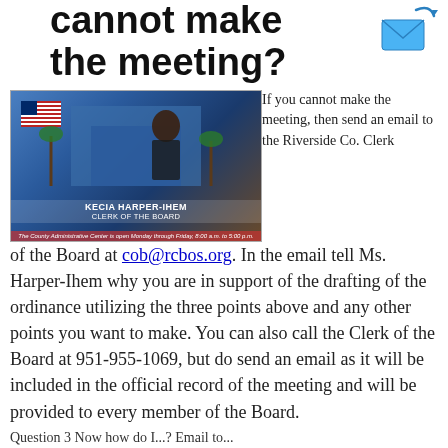cannot make the meeting?
[Figure (photo): Email icon (blue envelope with arrow)]
[Figure (photo): Photo of Kecia Harper-Ihem, Clerk of the Board, with county building and American flag in background]
If you cannot make the meeting, then send an email to the Riverside Co. Clerk of the Board at cob@rcbos.org. In the email tell Ms. Harper-Ihem why you are in support of the drafting of the ordinance utilizing the three points above and any other points you want to make. You can also call the Clerk of the Board at 951-955-1069, but do send an email as it will be included in the official record of the meeting and will be provided to every member of the Board.
Question 3 Now how do I...? Email to...